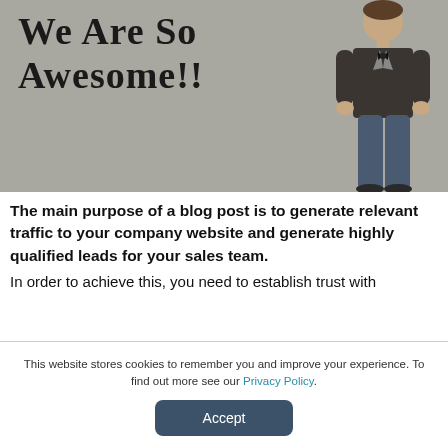[Figure (photo): Photo of a young man in a dark blazer and jeans standing against a grey background with handwritten-style text reading 'We Are So Awesome!!']
The main purpose of a blog post is to generate relevant traffic to your company website and generate highly qualified leads for your sales team. In order to achieve this, you need to establish trust with
This website stores cookies to remember you and improve your experience. To find out more see our Privacy Policy.
Accept